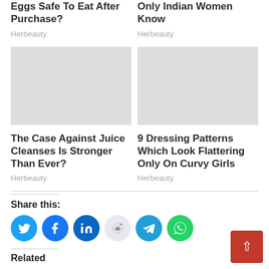Eggs Safe To Eat After Purchase?
Herbeauty
Only Indian Women Know
Herbeauty
The Case Against Juice Cleanses Is Stronger Than Ever?
Herbeauty
9 Dressing Patterns Which Look Flattering Only On Curvy Girls
Herbeauty
Share this:
[Figure (other): Social share icons: Twitter, Facebook, LinkedIn, Reddit, Telegram, WhatsApp]
Related